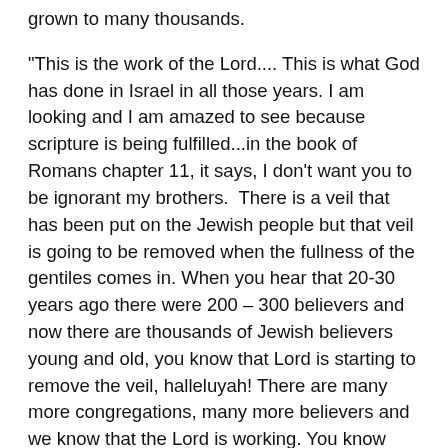grown to many thousands.
"This is the work of the Lord.... This is what God has done in Israel in all those years. I am looking and I am amazed to see because scripture is being fulfilled...in the book of Romans chapter 11, it says, I don't want you to be ignorant my brothers.  There is a veil that has been put on the Jewish people but that veil is going to be removed when the fullness of the gentiles comes in. When you hear that 20-30 years ago there were 200 – 300 believers and now there are thousands of Jewish believers young and old, you know that Lord is starting to remove the veil, halleluyah! There are many more congregations, many more believers and we know that the Lord is working. You know that the first will be last. The first to be saved were the Jewish people and they are also going to be the last ones to be saved and this is a sign for all the nations. When you see Jewish people coming to faith, know that